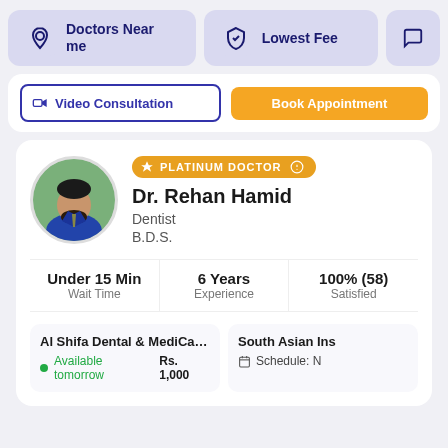[Figure (screenshot): Navigation buttons: Doctors Near me (location icon), Lowest Fee (shield icon), and a partial third button]
[Figure (screenshot): Partial card with Video Consultation outline button and Book Appointment orange button]
[Figure (photo): Circular profile photo of Dr. Rehan Hamid, a man in a blue suit with a beard]
PLATINUM DOCTOR
Dr. Rehan Hamid
Dentist
B.D.S.
Under 15 Min
Wait Time
6 Years
Experience
100% (58)
Satisfied
Al Shifa Dental & MediCare (Johar ...
Available tomorrow   Rs. 1,000
South Asian Ins
Schedule: N